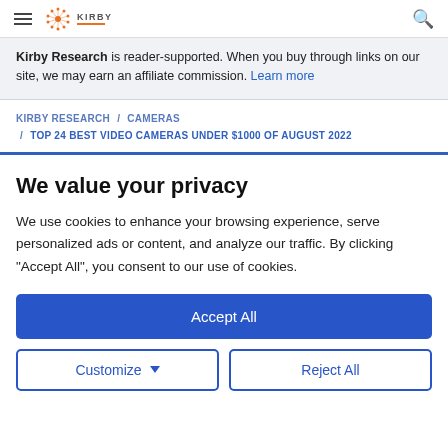[Figure (logo): Kirby Research logo with orange starburst icon and KIRBY text]
Kirby Research is reader-supported. When you buy through links on our site, we may earn an affiliate commission. Learn more
KIRBY RESEARCH / CAMERAS / TOP 24 BEST VIDEO CAMERAS UNDER $1000 OF AUGUST 2022
We value your privacy
We use cookies to enhance your browsing experience, serve personalized ads or content, and analyze our traffic. By clicking "Accept All", you consent to our use of cookies.
Accept All
Customize
Reject All